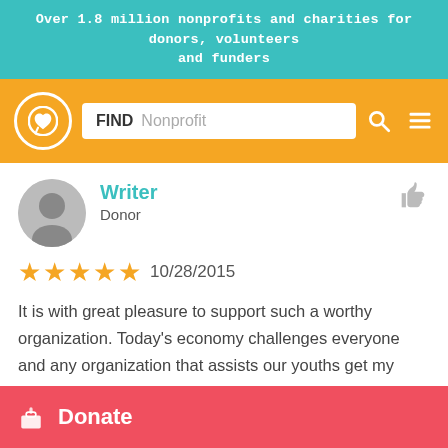Over 1.8 million nonprofits and charities for donors, volunteers and funders
[Figure (screenshot): Orange navigation bar with GuideStar/charity navigator logo (circle with heart Q icon), a search box labeled FIND with placeholder Nonprofit, a search icon, and hamburger menu icon]
Writer
Donor
10/28/2015
It is with great pleasure to support such a worthy organization. Today's economy challenges everyone and any organization that assists our youths get my attention. I have been supportive of this organization for about three years now and it always pleases me to learn of there success with providing direction to youths that would not
Donate